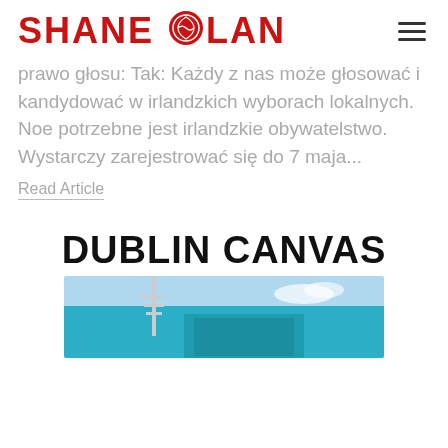SHANE FOLAN
prawo głosu: Tak: Każdy z nas może głosować i kandydować w irlandzkich wyborach lokalnych. Noe potrzebne jest irlandzkie obywatelstwo. Wystarczy zarejestrować się do 7 maja...
Read Article
DUBLIN CANVAS
[Figure (photo): Photo of a modern building with a spire against a blue sky, related to Dublin Canvas]